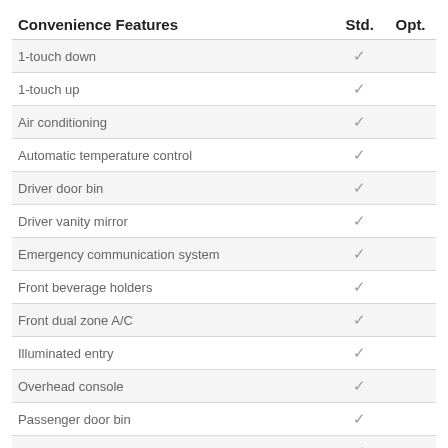| Convenience Features | Std. | Opt. |
| --- | --- | --- |
| 1-touch down | ✓ |  |
| 1-touch up | ✓ |  |
| Air conditioning | ✓ |  |
| Automatic temperature control | ✓ |  |
| Driver door bin | ✓ |  |
| Driver vanity mirror | ✓ |  |
| Emergency communication system | ✓ |  |
| Front beverage holders | ✓ |  |
| Front dual zone A/C | ✓ |  |
| Illuminated entry | ✓ |  |
| Overhead console | ✓ |  |
| Passenger door bin | ✓ |  |
| Passenger vanity mirror | ✓ |  |
| Power moonroof |  | ✓ |